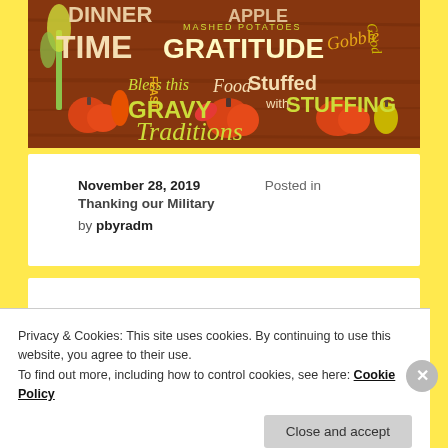[Figure (illustration): Thanksgiving-themed banner with text words: DINNER TIME, GRATITUDE, MASHED POTATOES, Bless this Food, Stuffed with STUFFING, GRAVY, Traditions, Gobble, Good, Happy, featuring pumpkins, corn, leaves on a brown wood background.]
November 28, 2019   Posted in Thanking our Military
by pbyradm
Want to attend the 2020 NHL All-Star Game?
Privacy & Cookies: This site uses cookies. By continuing to use this website, you agree to their use.
To find out more, including how to control cookies, see here: Cookie Policy